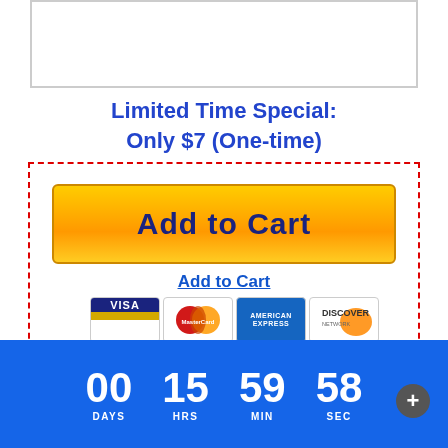[Figure (illustration): White box with border at top of page]
Limited Time Special:
Only $7 (One-time)
[Figure (illustration): Dashed red border box containing Add to Cart button, Add to Cart link, and payment card icons (Visa, MasterCard, American Express, Discover)]
Join an Ex-Army Green Beret to
[Figure (infographic): Blue countdown timer bar showing 00 DAYS 15 HRS 59 MIN 58 SEC]